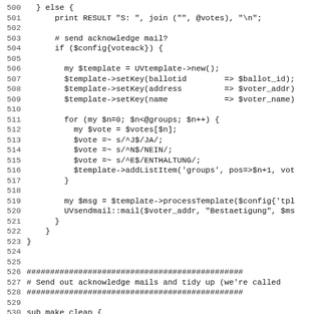Code listing lines 500-531, Perl source code showing vote processing and email acknowledgement logic